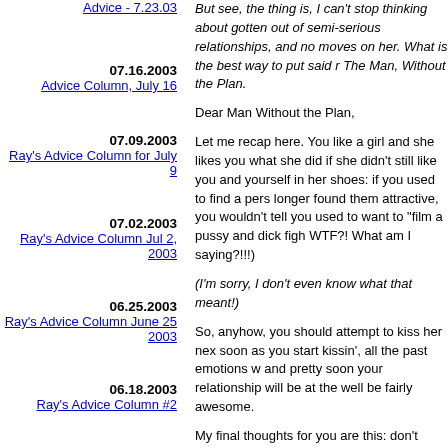Advice - 7.23.03
07.16.2003
Advice Column, July 16
07.09.2003
Ray's Advice Column for July 9
07.02.2003
Ray's Advice Column Jul 2, 2003
06.25.2003
Ray's Advice Column June 25 2003
06.18.2003
Ray's Advice Column #2
06.11.2003
Ray's Advice Column #1
06.04.2003
My Date With Crystal
But see, the thing is, I can't stop thinking about gotten out of semi-serious relationships, and moves on her. What is the best way to put said The Man, Without the Plan.
Dear Man Without the Plan,
Let me recap here. You like a girl and she likes you what she did if she didn't still like you and yourself in her shoes: if you used to find a person longer found them attractive, you wouldn't tell you used to want to "film a pussy and dick figh WTF?! What am I saying?!!!)
(I'm sorry, I don't even know what that meant!)
So, anyhow, you should attempt to kiss her nex soon as you start kissin', all the past emotions and pretty soon your relationship will be at the well be fairly awesome.
My final thoughts for you are this: don't screw easy to get it right. It's kind of a no-brainer. bye
Is there a God, and if so, should I pray to him/h Buddy, Reseda, CA
Dear Buddy,